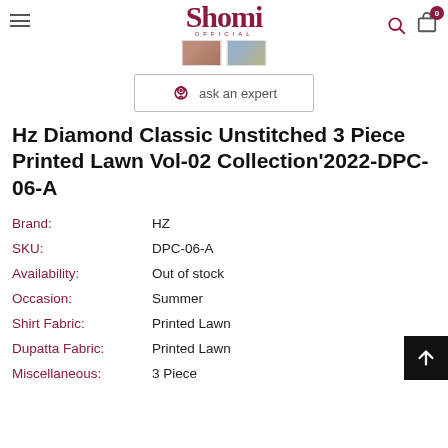Shomi OFFICIAL — navigation header with hamburger menu, logo, search icon, cart (0)
[Figure (screenshot): Two small product thumbnail images below the Shomi logo]
[Figure (infographic): Ask an expert button with chat icon inside a bordered rectangle]
Hz Diamond Classic Unstitched 3 Piece Printed Lawn Vol-02 Collection'2022-DPC-06-A
Brand: HZ
SKU: DPC-06-A
Availability: Out of stock
Occasion: Summer
Shirt Fabric: Printed Lawn
Dupatta Fabric: Printed Lawn
Miscellaneous: 3 Piece